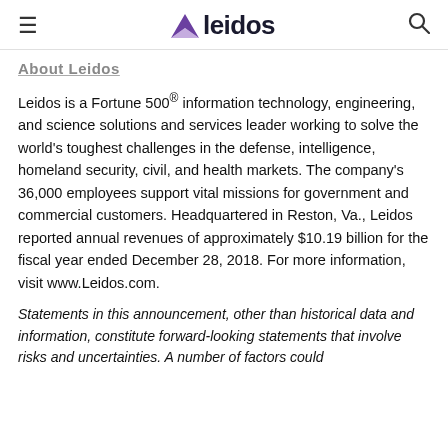leidos
About Leidos
Leidos is a Fortune 500® information technology, engineering, and science solutions and services leader working to solve the world's toughest challenges in the defense, intelligence, homeland security, civil, and health markets. The company's 36,000 employees support vital missions for government and commercial customers. Headquartered in Reston, Va., Leidos reported annual revenues of approximately $10.19 billion for the fiscal year ended December 28, 2018. For more information, visit www.Leidos.com.
Statements in this announcement, other than historical data and information, constitute forward-looking statements that involve risks and uncertainties. A number of factors could